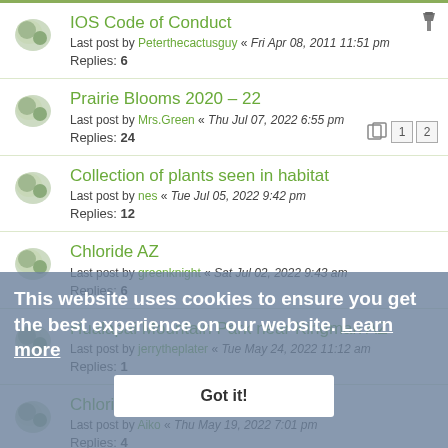IOS Code of Conduct
Last post by Peterthecactusguy « Fri Apr 08, 2011 11:51 pm
Replies: 6
Prairie Blooms 2020 – 22
Last post by Mrs.Green « Thu Jul 07, 2022 6:55 pm
Replies: 24
Collection of plants seen in habitat
Last post by nes « Tue Jul 05, 2022 9:42 pm
Replies: 12
Chloride AZ
Last post by greenknight « Sat Jul 02, 2022 9:43 am
Replies: 6
Hualapai Mountain Park near Kingman AZ
Last post by jerrytheplater « Tue May 24, 2022 11:12 am
Replies: 1
Chloride AZ Cemetery
Last post by Aiko « Thu May 19, 2022 7:01 pm
Replies: 4
Newberry Mountains, Nevada
Last post by Mrs.Green « Mon May 09, 2022 6:44 am
Replies: 3
This website uses cookies to ensure you get the best experience on our website. Learn more
Got it!